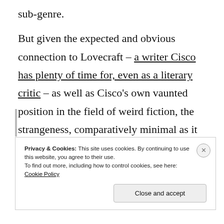sub-genre.
But given the expected and obvious connection to Lovecraft – a writer Cisco has plenty of time for, even as a literary critic – as well as Cisco's own vaunted position in the field of weird fiction, the strangeness, comparatively minimal as it may be, is both strong and lingering.
Privacy & Cookies: This site uses cookies. By continuing to use this website, you agree to their use. To find out more, including how to control cookies, see here: Cookie Policy